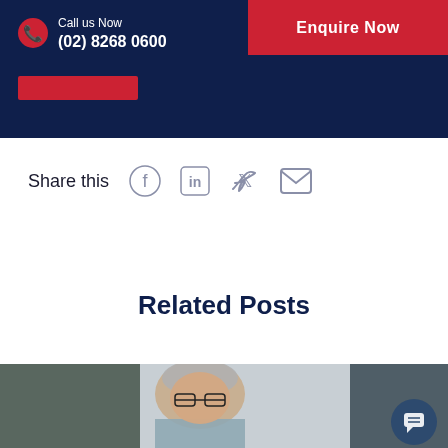Call us Now (02) 8268 0600 | Enquire Now
Share this
Related Posts
[Figure (photo): Older man with glasses and grey hair looking down, seated at a desk with a plant in the background]